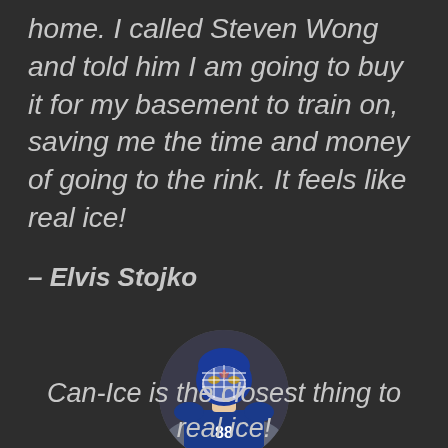home. I called Steven Wong and told him I am going to buy it for my basement to train on, saving me the time and money of going to the rink. It feels like real ice!
– Elvis Stojko
[Figure (photo): Circular cropped photo of a hockey goalie wearing a blue and white mask and jersey with number 88]
Can-Ice is the closest thing to real ice!